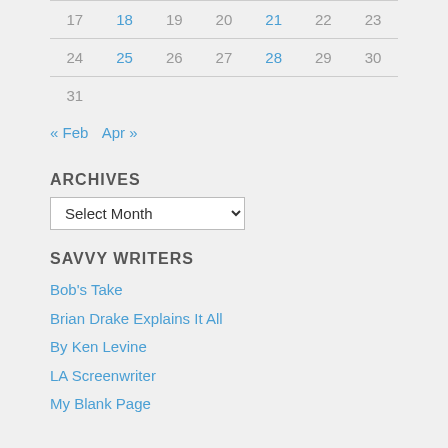| 17 | 18 | 19 | 20 | 21 | 22 | 23 |
| 24 | 25 | 26 | 27 | 28 | 29 | 30 |
| 31 |  |  |  |  |  |  |
« Feb   Apr »
ARCHIVES
Select Month (dropdown)
SAVVY WRITERS
Bob's Take
Brian Drake Explains It All
By Ken Levine
LA Screenwriter
My Blank Page